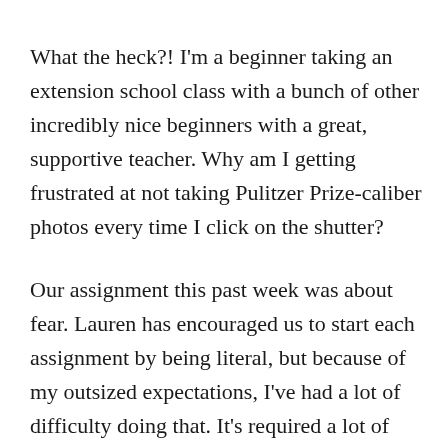What the heck?! I'm a beginner taking an extension school class with a bunch of other incredibly nice beginners with a great, supportive teacher. Why am I getting frustrated at not taking Pulitzer Prize-caliber photos every time I click on the shutter?
Our assignment this past week was about fear. Lauren has encouraged us to start each assignment by being literal, but because of my outsized expectations, I've had a lot of difficulty doing that. It's required a lot of discipline to stop conceptualizing and to start shooting, to recognize that being iterative will work much better than obsessing about perfection on the